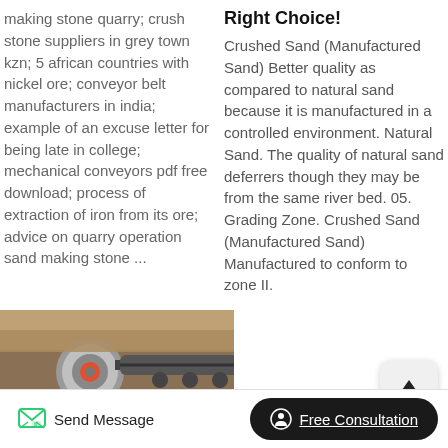making stone quarry; crush stone suppliers in grey town kzn; 5 african countries with nickel ore; conveyor belt manufacturers in india; example of an excuse letter for being late in college; mechanical conveyors pdf free download; process of extraction of iron from its ore; advice on quarry operation sand making stone ...
Right Choice!
Crushed Sand (Manufactured Sand) Better quality as compared to natural sand because it is manufactured in a controlled environment. Natural Sand. The quality of natural sand deferrers though they may be from the same river bed. 05. Grading Zone. Crushed Sand (Manufactured Sand) Manufactured to conform to zone II.
[Figure (photo): Industrial conveyor belt machinery photographed outdoors on sandy/earthy ground]